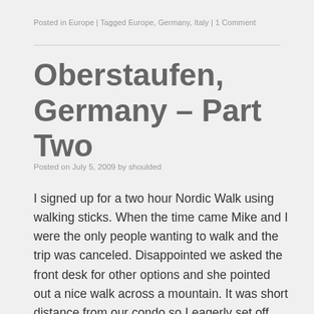Posted in Europe | Tagged Europe, Germany, Italy | 1 Comment
Oberstaufen, Germany – Part Two
Posted on July 5, 2009 by shoulded
I signed up for a two hour Nordic Walk using walking sticks. When the time came Mike and I were the only people wanting to walk and the trip was canceled. Disappointed we asked the front desk for other options and she pointed out a nice walk across a mountain. It was short distance from our condo so I eagerly set off. After about a mile or so we arrived at the Hundle ski lift. Up the mountain was easy (considering my fear of